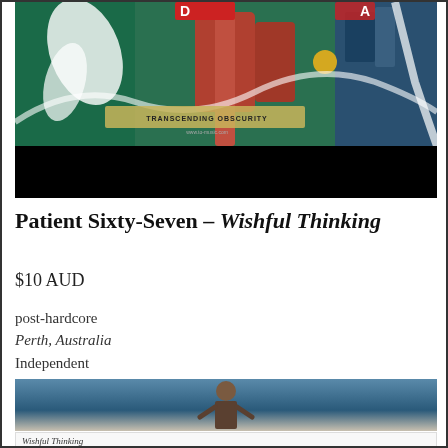[Figure (photo): Album artwork for Patient Sixty-Seven - Wishful Thinking, showing a colorful surrealist illustration with a black banner below containing text 'TRANSCENDING OBSCURITY' and a website URL]
Patient Sixty-Seven – Wishful Thinking
$10 AUD
post-hardcore
Perth, Australia
Independent
[Figure (photo): Photograph showing a person or figure, appears to be a music video or promotional photo with a blue/grey background]
Wishful Thinking